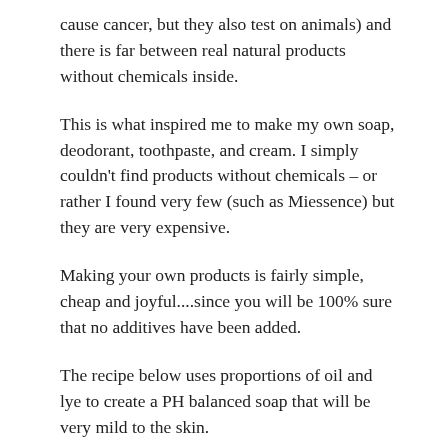cause cancer, but they also test on animals) and there is far between real natural products without chemicals inside.
This is what inspired me to make my own soap, deodorant, toothpaste, and cream. I simply couldn’t find products without chemicals – or rather I found very few (such as Miessence) but they are very expensive.
Making your own products is fairly simple, cheap and joyful....since you will be 100% sure that no additives have been added.
The recipe below uses proportions of oil and lye to create a PH balanced soap that will be very mild to the skin.